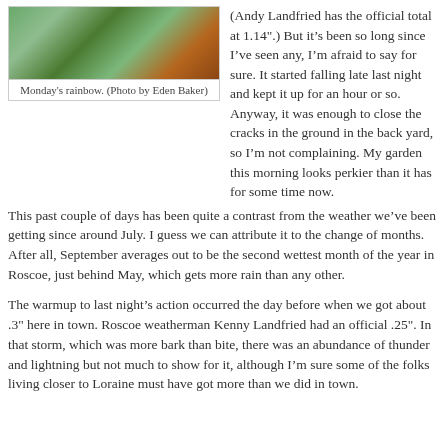[Figure (photo): Photo of Monday's rainbow with green grass and trees in the background]
Monday's rainbow. (Photo by Eden Baker)
(Andy Landfried has the official total at 1.14".) But it's been so long since I've seen any, I'm afraid to say for sure. It started falling late last night and kept it up for an hour or so. Anyway, it was enough to close the cracks in the ground in the back yard, so I'm not complaining. My garden this morning looks perkier than it has for some time now.
This past couple of days has been quite a contrast from the weather we've been getting since around July. I guess we can attribute it to the change of months. After all, September averages out to be the second wettest month of the year in Roscoe, just behind May, which gets more rain than any other.
The warmup to last night's action occurred the day before when we got about .3" here in town. Roscoe weatherman Kenny Landfried had an official .25". In that storm, which was more bark than bite, there was an abundance of thunder and lightning but not much to show for it, although I'm sure some of the folks living closer to Loraine must have got more than we did in town.